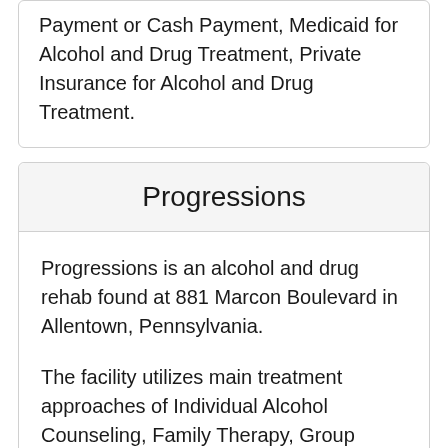Payment or Cash Payment, Medicaid for Alcohol and Drug Treatment, Private Insurance for Alcohol and Drug Treatment.
Progressions
Progressions is an alcohol and drug rehab found at 881 Marcon Boulevard in Allentown, Pennsylvania.
The facility utilizes main treatment approaches of Individual Alcohol Counseling, Family Therapy, Group Counseling. The center offers services in these settings: Outpatient Drug Rehab.